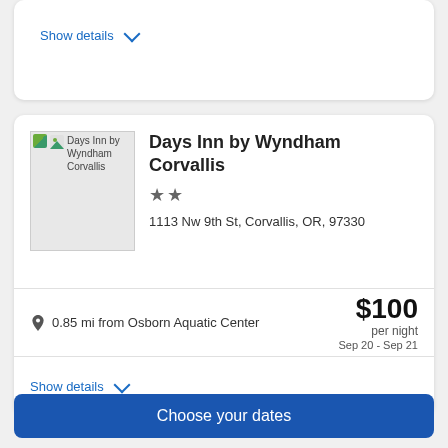Show details ∨
Days Inn by Wyndham Corvallis
★★
1113 Nw 9th St, Corvallis, OR, 97330
0.85 mi from Osborn Aquatic Center
$100 per night Sep 20 - Sep 21
Show details ∨
Choose your dates